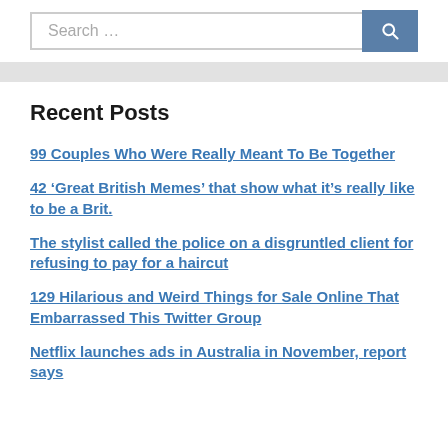[Figure (screenshot): Search bar with text input field showing 'Search …' placeholder and a dark blue button with magnifying glass icon]
Recent Posts
99 Couples Who Were Really Meant To Be Together
42 ‘Great British Memes’ that show what it’s really like to be a Brit.
The stylist called the police on a disgruntled client for refusing to pay for a haircut
129 Hilarious and Weird Things for Sale Online That Embarrassed This Twitter Group
Netflix launches ads in Australia in November, report says